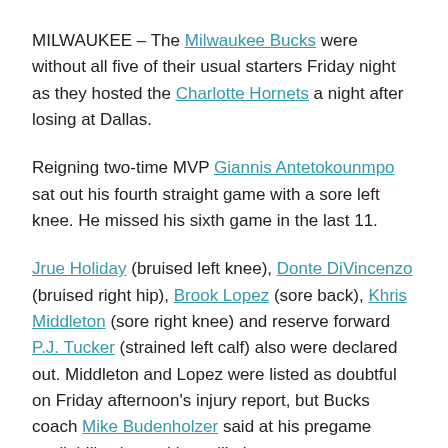MILWAUKEE – The Milwaukee Bucks were without all five of their usual starters Friday night as they hosted the Charlotte Hornets a night after losing at Dallas.
Reigning two-time MVP Giannis Antetokounmpo sat out his fourth straight game with a sore left knee. He missed his sixth game in the last 11.
Jrue Holiday (bruised left knee), Donte DiVincenzo (bruised right hip), Brook Lopez (sore back), Khris Middleton (sore right knee) and reserve forward P.J. Tucker (strained left calf) also were declared out. Middleton and Lopez were listed as doubtful on Friday afternoon's injury report, but Bucks coach Mike Budenholzer said at his pregame availability that neither will play.
Charlotte also isn't close to full strength.